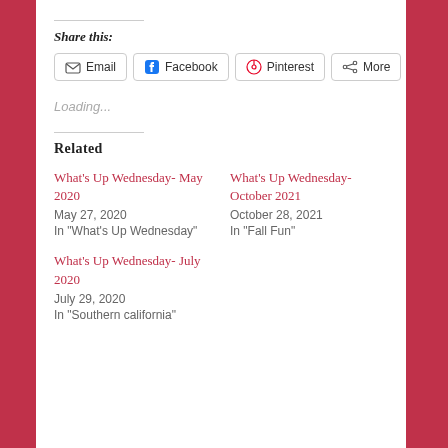Share this:
Email  Facebook  Pinterest  More
Loading...
Related
What's Up Wednesday- May 2020
May 27, 2020
In "What's Up Wednesday"
What's Up Wednesday- October 2021
October 28, 2021
In "Fall Fun"
What's Up Wednesday- July 2020
July 29, 2020
In "Southern california"